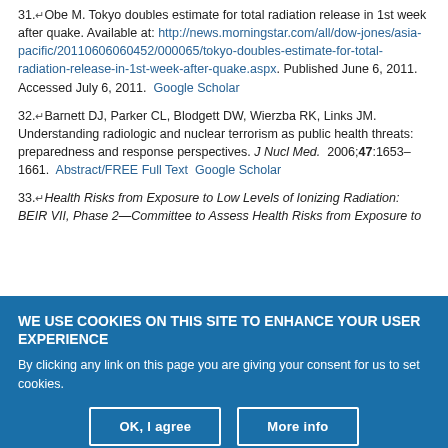31. Obe M. Tokyo doubles estimate for total radiation release in 1st week after quake. Available at: http://news.morningstar.com/all/dow-jones/asia-pacific/20110606452/000065/tokyo-doubles-estimate-for-total-radiation-release-in-1st-week-after-quake.aspx. Published June 6, 2011. Accessed July 6, 2011. Google Scholar
32. Barnett DJ, Parker CL, Blodgett DW, Wierzba RK, Links JM. Understanding radiologic and nuclear terrorism as public health threats: preparedness and response perspectives. J Nucl Med. 2006;47:1653–1661. Abstract/FREE Full Text Google Scholar
33. Health Risks from Exposure to Low Levels of Ionizing Radiation: BEIR VII, Phase 2—Committee to Assess Health Risks from Exposure to
WE USE COOKIES ON THIS SITE TO ENHANCE YOUR USER EXPERIENCE
By clicking any link on this page you are giving your consent for us to set cookies.